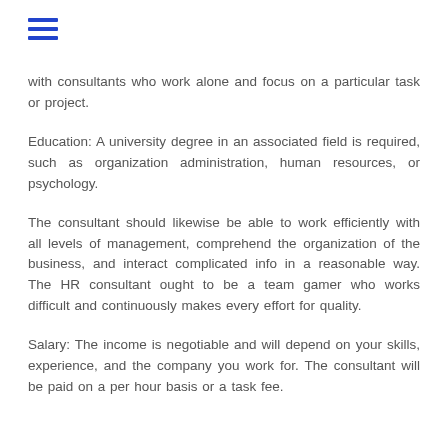≡
with consultants who work alone and focus on a particular task or project.
Education: A university degree in an associated field is required, such as organization administration, human resources, or psychology.
The consultant should likewise be able to work efficiently with all levels of management, comprehend the organization of the business, and interact complicated info in a reasonable way. The HR consultant ought to be a team gamer who works difficult and continuously makes every effort for quality.
Salary: The income is negotiable and will depend on your skills, experience, and the company you work for. The consultant will be paid on a per hour basis or a task fee.